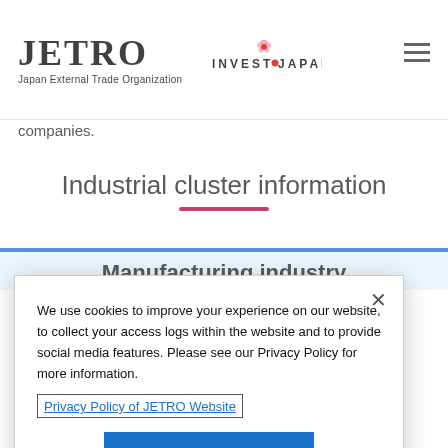JETRO Japan External Trade Organization | INVEST JAPAN
companies.
Industrial cluster information
Manufacturing industry
We use cookies to improve your experience on our website, to collect your access logs within the website and to provide social media features. Please see our Privacy Policy for more information.
Privacy Policy of JETRO Website
OK